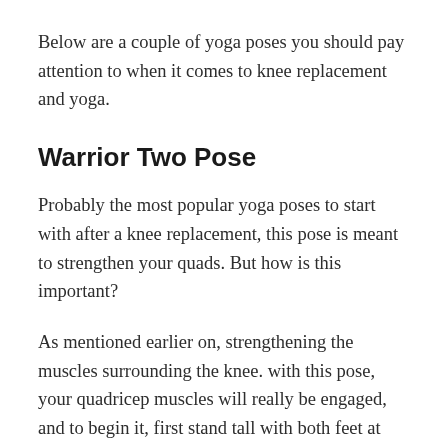Below are a couple of yoga poses you should pay attention to when it comes to knee replacement and yoga.
Warrior Two Pose
Probably the most popular yoga poses to start with after a knee replacement, this pose is meant to strengthen your quads. But how is this important?
As mentioned earlier on, strengthening the muscles surrounding the knee. with this pose, your quadricep muscles will really be engaged, and to begin it, first stand tall with both feet at